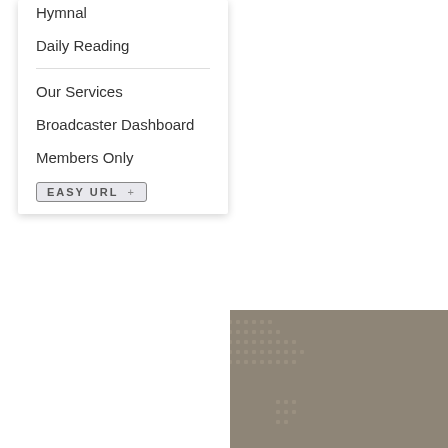Hymnal
Daily Reading
Our Services
Broadcaster Dashboard
Members Only
EASY URL +
[Figure (map): World map background with dotted country outlines in dark beige/brown. A blue location pin with 'sa' logo is placed over North America.]
SERIES 98
Word Magazine
WM 98: Ending
Jeff Riddle
WM 98: Ending o... Syriac
Word Magazine
Podcast
Christ Reformed B...
Sermons pr...
06/30/18 S...